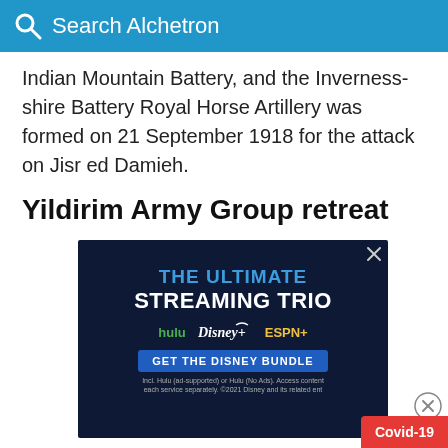Search Alchetron
Indian Mountain Battery, and the Inverness-shire Battery Royal Horse Artillery was formed on 21 September 1918 for the attack on Jisr ed Damieh.
Yildirim Army Group retreat
[Figure (screenshot): Advertisement for Disney Bundle streaming service showing 'THE ULTIMATE STREAMING TRIO' with Hulu, Disney+, and ESPN+ logos, and a 'GET THE DISNEY BUNDLE' button on a dark navy background.]
[Figure (infographic): Covid-19 red badge in bottom right corner]